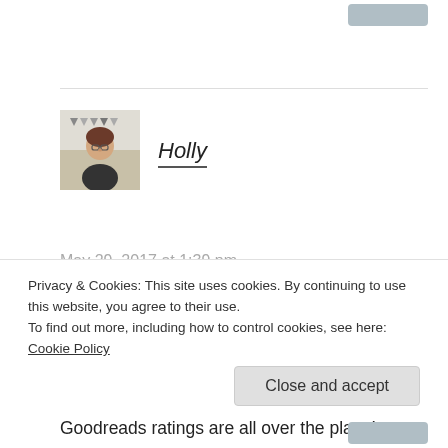[Figure (photo): Avatar photo of Holly, a woman with glasses and dark hair]
Holly
May 29, 2017 at 1:39 pm
Thanks!! It’s good to hear that I’m not the only one who feels this way. I’ve gone back so many times and changed ratings after I actually have time to reflect on a book for a while. My Goodreads ratings are all over the place!
Privacy & Cookies: This site uses cookies. By continuing to use this website, you agree to their use.
To find out more, including how to control cookies, see here: Cookie Policy
Close and accept